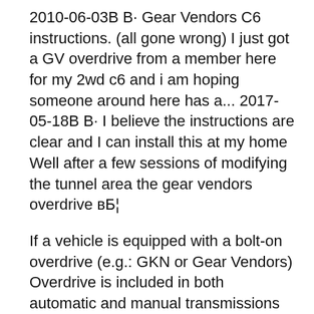2010-06-03В В· Gear Vendors C6 instructions. (all gone wrong) I just got a GV overdrive from a member here for my 2wd c6 and i am hoping someone around here has a... 2017-05-18В В· I believe the instructions are clear and I can install this at my home Well after a few sessions of modifying the tunnel area the gear vendors overdrive вБ¦
If a vehicle is equipped with a bolt-on overdrive (e.g.: GKN or Gear Vendors) Overdrive is included in both automatic and manual transmissions as an extra gear 2013-04-08В В· Thinking about installing a gear vendors overdrive in my 71 roadrunner. Anyone install 1 ? Pros and cons.
Gear vendors under/overdrive install - deep We